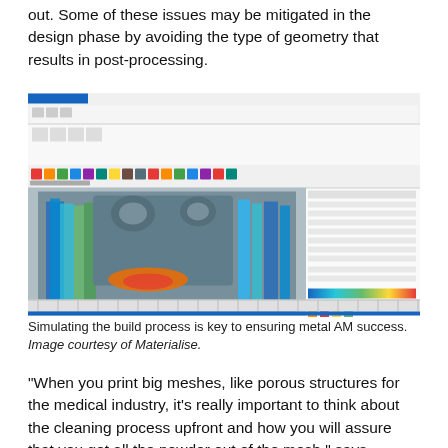out. Some of these issues may be mitigated in the design phase by avoiding the type of geometry that results in post-processing.
[Figure (screenshot): Screenshot of Materialise Magics or similar metal AM simulation software showing a 3D part with support structures rendered in a rainbow heat-map color scale (blue to red), with a toolbar on the left and a settings panel on the right.]
Simulating the build process is key to ensuring metal AM success. Image courtesy of Materialise.
"When you print big meshes, like porous structures for the medical industry, it's really important to think about the cleaning process upfront and how you will assure that you get all the powder out of the mesh," says Vandecruys